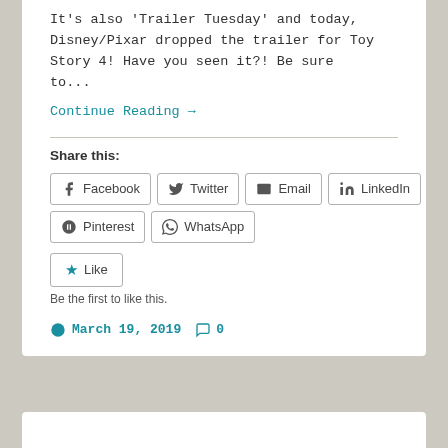It's also 'Trailer Tuesday' and today, Disney/Pixar dropped the trailer for Toy Story 4! Have you seen it?! Be sure to...
Continue Reading →
Share this:
Facebook  Twitter  Email  LinkedIn  Pinterest  WhatsApp
Like
Be the first to like this.
March 19, 2019  0